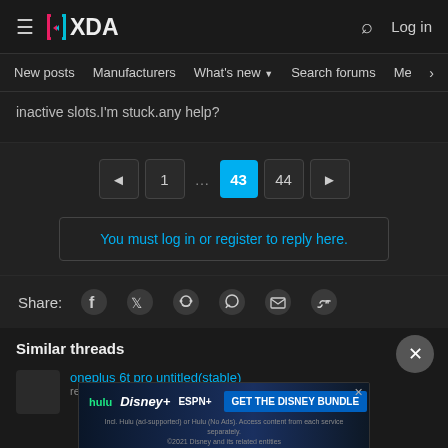XDA Forums — Log in
New posts  Manufacturers  What's new  Search forums  Members  >
inactive slots.I'm stuck.any help?
Pagination: ◄ 1 … 43 44 ►
You must log in or register to reply here.
Share:
Similar threads
[Figure (screenshot): Disney Bundle advertisement banner]
oneplus 6t pro untitled(stable)
recovery/tip